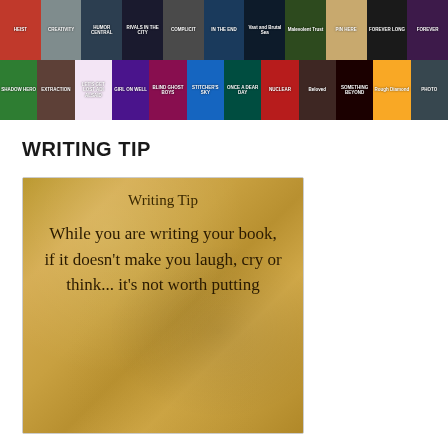[Figure (photo): A collage of book covers arranged in two rows, showing various young adult novel covers including titles like 'Rivals in the City', 'In the End', 'Vast and Brutal Sea', 'Shadow Hero', 'Let's Get Lost', 'The Girl on the Well', 'Once a Day', 'Nuclear', 'Beloved', and many others.]
WRITING TIP
[Figure (photo): A textured golden/sandy background image with text overlay reading: 'Writing Tip — While you are writing your book, if it doesn't make you laugh, cry or think... it's not worth putting on paper.']